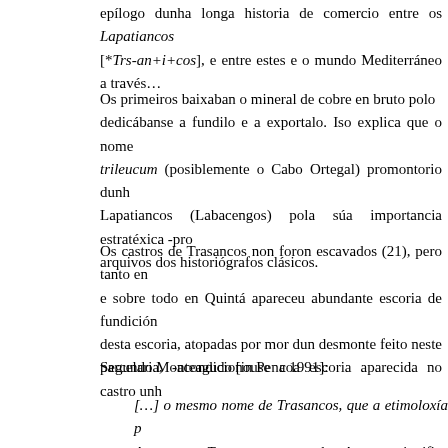epílogo dunha longa historia de comercio entre os Lapatiancos [*Trs-an+i+cos], e entre estes e o mundo Mediterráneo a través…
Os primeiros baixaban o mineral de cobre en bruto polo dedicábanse a fundilo e a exportalo. Iso explica que o nome trileucum (posiblemente o Cabo Ortegal) promontorio dunha Lapatiancos (Labacengos) pola súa importancia estratéxica -pro arquivos dos historiógrafos clásicos.
Os castros de Trasancos non foron escavados (21), pero tanto en e sobre todo en Quintá apareceu abundante escoria de fundición desta escoria, atopadas por mor dun desmonte feito neste parcelaria, -acondicionouse coa escoria aparecida no castro unha
Segundo Monteagudo [in Pena 1991]:
[…] o mesmo nome de Trasancos, que a etimoloxía p Ancos = Tras o monte de Ancos, significa probablemente para roturar), agricultores, do antigo (c